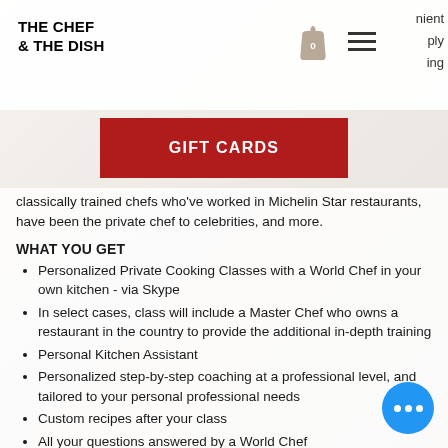THE CHEF & THE DISH
[Figure (screenshot): Navigation bar with shopping bag icon showing 0 items and hamburger menu icon]
nient ply ing
[Figure (other): Red GIFT CARDS button]
classically trained chefs who've worked in Michelin Star restaurants, have been the private chef to celebrities, and more.
WHAT YOU GET
Personalized Private Cooking Classes with a World Chef in your own kitchen - via Skype
In select cases, class will include a Master Chef who owns a restaurant in the country to provide the additional in-depth training
Personal Kitchen Assistant
Personalized step-by-step coaching at a professional level, and tailored to your personal professional needs
Custom recipes after your class
All your questions answered by a World Chef